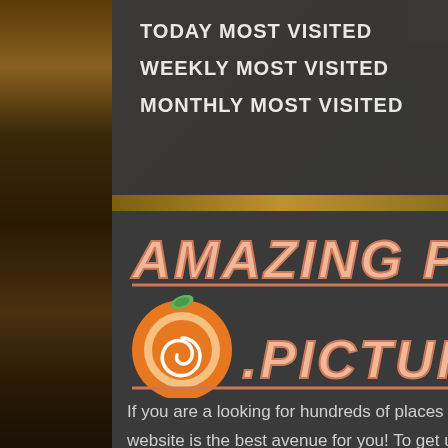TODAY MOST VISITED
WEEKLY MOST VISITED
MONTHLY MOST VISITED
[Figure (logo): Amazing Places Pictures logo with orange swirl camera icon, italic text reading AMAZING PLACES .PICTURES in peach/salmon color with orange underline strokes]
If you are a looking for hundreds of places to travel with good food and excellent vacation spots, then this website is the best avenue for you! To get updates and travel tips, don't forget to follow us on social media thank you.